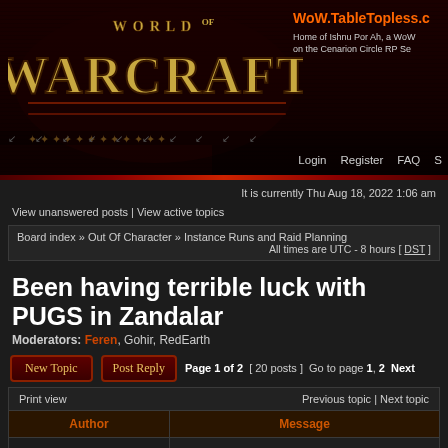WoW.TableTopless.c — Home of Ishnu Por Ah, a WoW on the Cenarion Circle RP Se
Login   Register   FAQ   S
It is currently Thu Aug 18, 2022 1:06 am
View unanswered posts | View active topics
Board index » Out Of Character » Instance Runs and Raid Planning
All times are UTC - 8 hours [ DST ]
Been having terrible luck with PUGS in Zandalar
Moderators: Feren, Gohir, RedEarth
New Topic   Post Reply   Page 1 of 2  [ 20 posts ]  Go to page 1, 2  Next
Print view   Previous topic | Next topic
| Author | Message |
| --- | --- |
| Plainswander | Post subject: Been having terrible luck with PUGS in Zandalar
■ Posted: Tue May 03, 2011 11:17 am |
| Offline | Need some late night ishies to do some runs with |